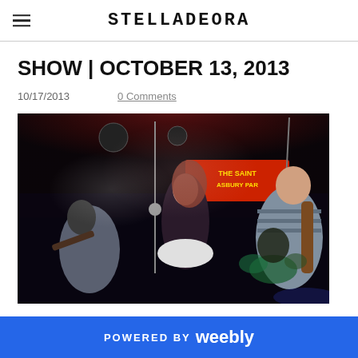STELLADEORA
SHOW | OCTOBER 13, 2013
10/17/2013    0 Comments
[Figure (photo): Band performing on stage at The Saint, Asbury Park. Three visible band members: guitarist on left in grey hoodie, female singer in center in dark floral dress and white skirt dancing, guitarist on right in striped shirt. Venue sign reads 'THE SAINT ASBURY PARK' in background. Red and blue stage lighting, drum kit visible in background.]
POWERED BY weebly